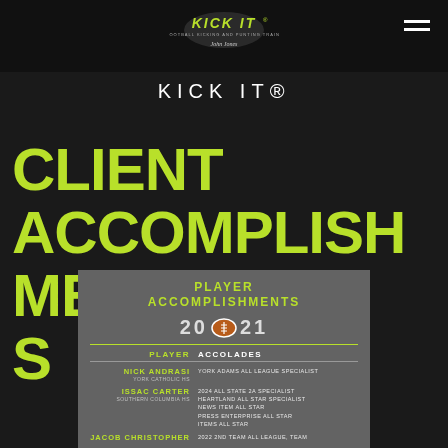KICK IT®
KICK IT®
CLIENT ACCOMPLISHMENTS
[Figure (infographic): Player Accomplishments card for 2021 showing a table with player names, schools, and accolades. Players listed: Nick Andrasi (York Catholic HS) - York Adams All League Specialist; Issac Carter (Southern Columbia HS) - 2024 All State 2A Specialist, Heartland All Star Specialist, News Item All Star, Press Enterprise All Star, Items All Star; Jacob Christopher - 2022 2nd Team All League, Team]